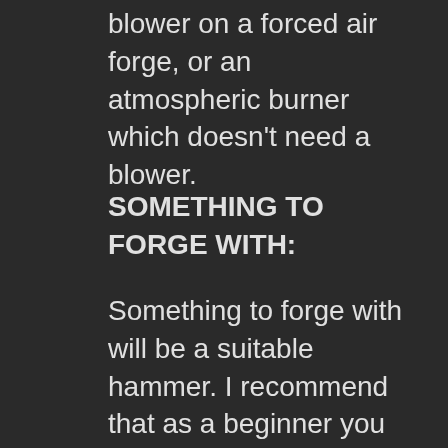blower on a forced air forge, or an atmospheric burner which doesn't need a blower.
SOMETHING TO FORGE WITH:
Something to forge with will be a suitable hammer. I recommend that as a beginner you start with a 2 pound hammer. Some will suggest heavier hammers, but that's not a good idea when you're first learning...